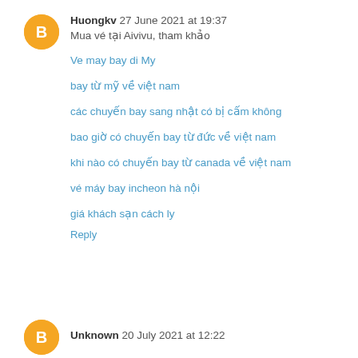Huongkv 27 June 2021 at 19:37
Mua vé tại Aivivu, tham khảo
Ve may bay di My
bay từ mỹ về việt nam
các chuyến bay sang nhật có bị cấm không
bao giờ có chuyến bay từ đức về việt nam
khi nào có chuyến bay từ canada về việt nam
vé máy bay incheon hà nội
giá khách sạn cách ly
Reply
Unknown 20 July 2021 at 12:22